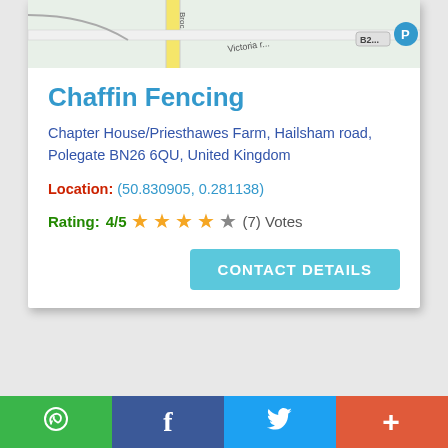[Figure (map): Partial map screenshot showing roads including Victoria road and B2 road with a parking icon]
Chaffin Fencing
Chapter House/Priesthawes Farm, Hailsham road, Polegate BN26 6QU, United Kingdom
Location: (50.830905, 0.281138)
Rating: 4/5 ★★★★☆ (7) Votes
CONTACT DETAILS
WhatsApp | Facebook | Twitter | More